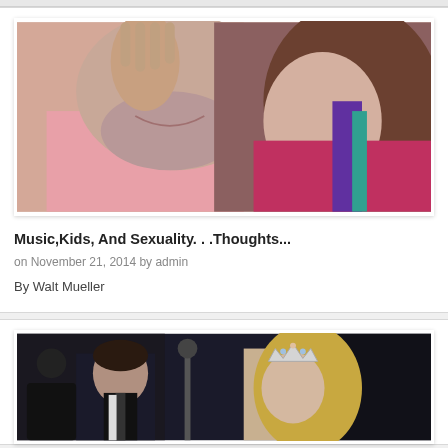[Figure (photo): Close-up photo of a couple kissing, man in pink shirt, woman in colorful top]
Music,Kids, And Sexuality. . .Thoughts...
on November 21, 2014 by admin
By Walt Mueller
[Figure (photo): Photo of a man in a suit and a woman wearing a tiara, against a dark background]